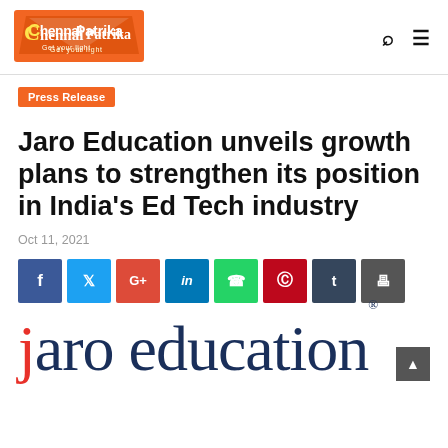Chennai Patrika — Get your light
Press Release
Jaro Education unveils growth plans to strengthen its position in India's Ed Tech industry
Oct 11, 2021
[Figure (infographic): Social media share buttons: Facebook, Twitter, Google+, LinkedIn, WhatsApp, Pinterest, Tumblr, Print]
[Figure (logo): Jaro Education logo in dark navy blue serif font with red dot on letter j and registered trademark symbol]